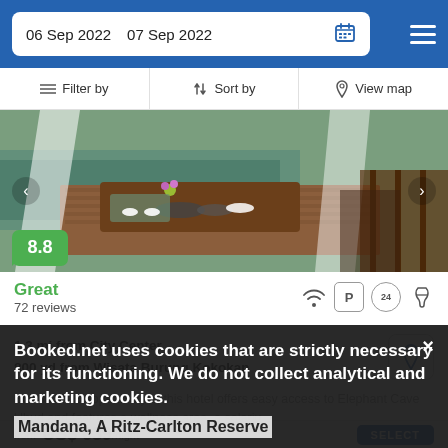06 Sep 2022  07 Sep 2022
Filter by  Sort by  View map
[Figure (photo): Hotel room terrace overlooking a pool or river, with a wooden table set with dishes and cups, white curtains, and a scenic backdrop. Score badge 8.8 visible bottom left.]
Great
72 reviews
1.3 mi from City Center
800 yd from Wisata Burung Kokokan
Built in an European-style, this hotel offers easy access to Elephant Cave Ubud and features a wellness area, a solariu...
from  US$ 639/night  SELECT
Booked.net uses cookies that are strictly necessary for its functioning. We do not collect analytical and marketing cookies.
Mandana, A Ritz-Carlton Reserve